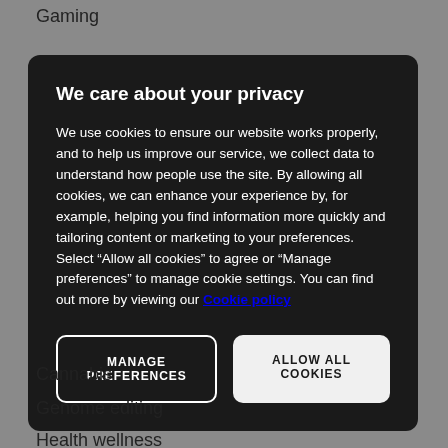Gaming
We care about your privacy
We use cookies to ensure our website works properly, and to help us improve our service, we collect data to understand how people use the site. By allowing all cookies, we can enhance your experience by, for example, helping you find information more quickly and tailoring content or marketing to your preferences. Select “Allow all cookies” to agree or “Manage preferences” to manage cookie settings. You can find out more by viewing our Cookie policy
MANAGE PREFERENCES
ALLOW ALL COOKIES
Cannabis
Genome editing
Health wellness